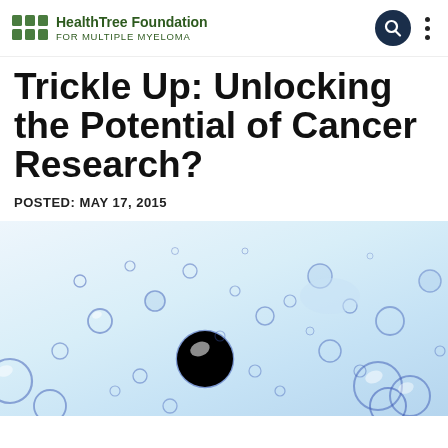HealthTree Foundation FOR MULTIPLE MYELOMA
Trickle Up: Unlocking the Potential of Cancer Research?
POSTED: MAY 17, 2015
[Figure (photo): Close-up photo of blue transparent bubbles on a light blue/white background, resembling water bubbles or cells under a microscope.]